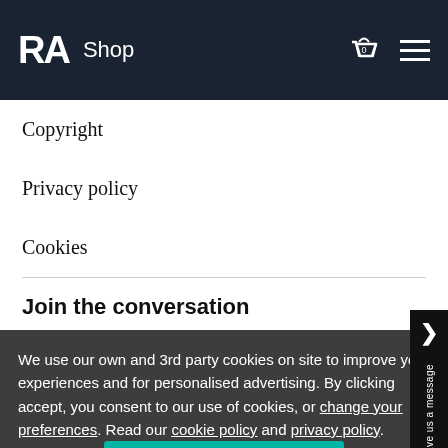RA Shop
Copyright
Privacy policy
Cookies
Join the conversation
We use our own and 3rd party cookies on site to improve your experiences and for personalised advertising. By clicking accept, you consent to our use of cookies, or change your preferences. Read our cookie policy and privacy policy.
Accept cookies >